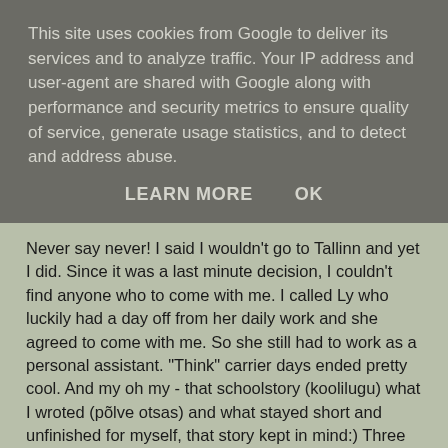This site uses cookies from Google to deliver its services and to analyze traffic. Your IP address and user-agent are shared with Google along with performance and security metrics to ensure quality of service, generate usage statistics, and to detect and address abuse.
LEARN MORE    OK
Never say never! I said I wouldn't go to Tallinn and yet I did. Since it was a last minute decision, I couldn't find anyone who to come with me. I called Ly who luckily had a day off from her daily work and she agreed to come with me. So she still had to work as a personal assistant. "Think" carrier days ended pretty cool. And my oh my - that schoolstory (koolilugu) what I wroted (põlve otsas) and what stayed short and unfinished for myself, that story kept in mind:) Three best writers recived a gift and I was one of them. My (kallike) wasn't with me, but that doesn't stopped me form useing paper.
I want to thank Tartu-Tallinn-Tartu route busdrivers. Both of them were very nice. They carried me to the backrow of the bus, because there were no available seats in the front. !!!